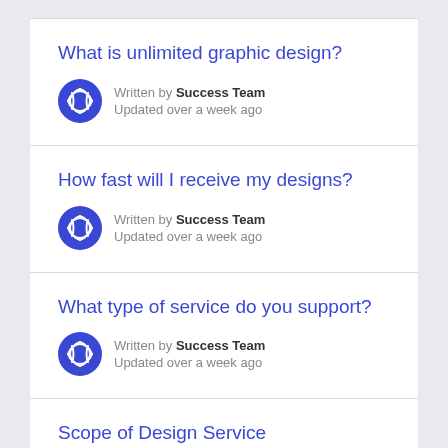What is unlimited graphic design?
Written by Success Team
Updated over a week ago
How fast will I receive my designs?
Written by Success Team
Updated over a week ago
What type of service do you support?
Written by Success Team
Updated over a week ago
Scope of Design Service